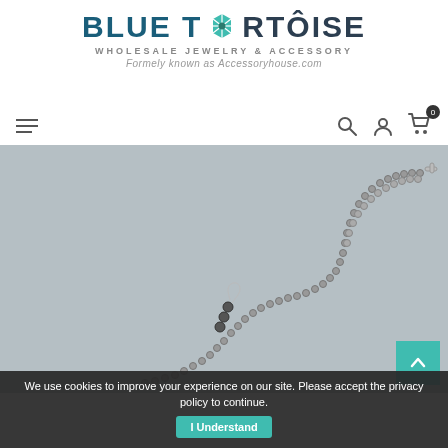[Figure (logo): Blue Tortoise Wholesale Jewelry & Accessory logo with teal turtle shell icon replacing the 'O' in Tortoise]
WHOLESALE JEWELRY & ACCESSORY
Formely known as Accessoryhouse.com
[Figure (screenshot): Navigation bar with hamburger menu on left and search, user, and cart icons on right. Cart shows badge with 0.]
[Figure (photo): Product photo showing a silver beaded necklace laid in an S-curve shape on a gray surface, with small dark bead earrings on a hook beside it. A teal back-to-top arrow button is overlaid in the bottom-right corner.]
We use cookies to improve your experience on our site. Please accept the privacy policy to continue.
I Understand